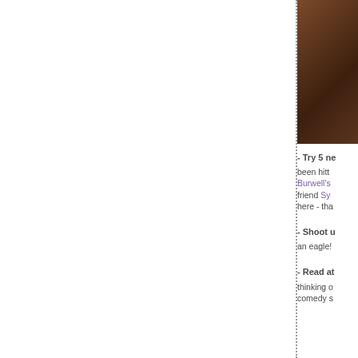[Figure (photo): Partial photo showing a dark brown wooden surface or background, cropped at top-right corner of the page]
- Try 5 ne... been hitt... Burwell's... friend Sy... here - tha...
- Shoot u... an eagle!...
- Read at... thinking c... comedy s...